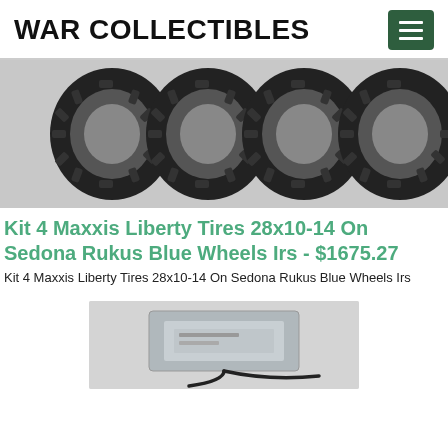WAR COLLECTIBLES
[Figure (photo): Four Maxxis Liberty tires mounted side by side, showing tread pattern]
Kit 4 Maxxis Liberty Tires 28x10-14 On Sedona Rukus Blue Wheels Irs - $1675.27
Kit 4 Maxxis Liberty Tires 28x10-14 On Sedona Rukus Blue Wheels Irs
[Figure (photo): Electronic device or battery pack with black cable, gray colored, on light background]